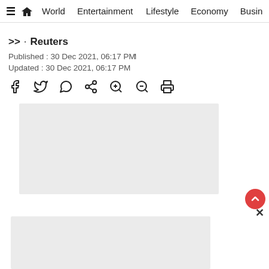≡  🏠  World  Entertainment  Lifestyle  Economy  Busin
>> · Reuters
Published : 30 Dec 2021, 06:17 PM
Updated : 30 Dec 2021, 06:17 PM
[Figure (other): Social sharing icons: Facebook, Twitter, WhatsApp, Share, Zoom In, Zoom Out, Print]
[Figure (other): Advertisement placeholder box 1 (light grey rectangle)]
[Figure (other): Advertisement placeholder box 2 (light grey rectangle)]